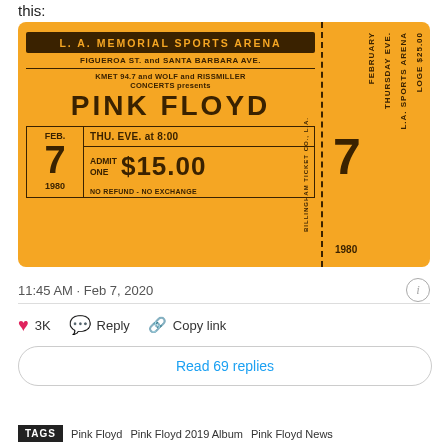this:
[Figure (photo): Vintage concert ticket for Pink Floyd at L.A. Memorial Sports Arena, Feb 7 1980. Yellow/gold ticket stub showing venue name, KMET 94.7 and Wolf and Rissmiller Concerts presents Pink Floyd, Feb. 7, Thu. Eve. at 8:00, Admit One $15.00, No Refund - No Exchange, 1980. Stub on right shows LOGE $25.00, Thursday Eve., L.A. Sports Arena, February 7, 1980.]
11:45 AM · Feb 7, 2020
3K  Reply  Copy link
Read 69 replies
TAGS  Pink Floyd  Pink Floyd 2019 Album  Pink Floyd News